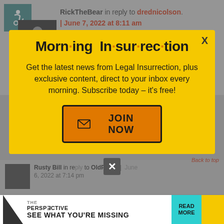RickTheBear in reply to drednicolson. | June 7, 2022 at 8:11 am
[Figure (screenshot): Modal popup with yellow background showing 'Morning Insurrection' newsletter signup with orange JOIN NOW button]
Rusty Bill in reply to OldProf2 | June 6, 2022 at 7:14 pm
[Figure (screenshot): THE PERSPECTIVE banner advertisement: SEE WHAT YOU'RE MISSING - READ MORE]